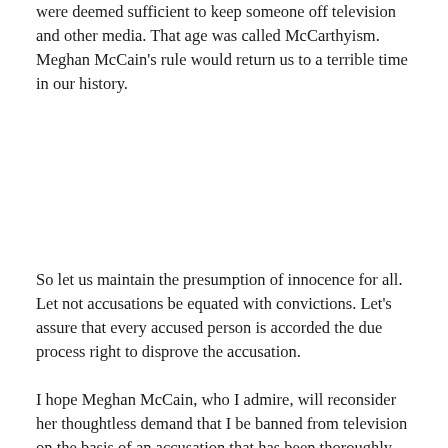were deemed sufficient to keep someone off television and other media. That age was called McCarthyism. Meghan McCain's rule would return us to a terrible time in our history.
So let us maintain the presumption of innocence for all. Let not accusations be equated with convictions. Let's assure that every accused person is accorded the due process right to disprove the accusation.
I hope Meghan McCain, who I admire, will reconsider her thoughtless demand that I be banned from television on the basis of an accusation that has been thoroughly disproved and